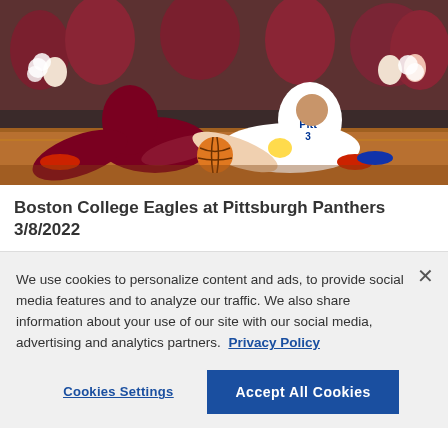[Figure (photo): Basketball game action photo: Pittsburgh Panthers player #3 in white Pitt jersey diving for a loose ball on the court floor, contested by a Boston College Eagles player in maroon uniform. Cheerleaders with pom-poms visible in background.]
Boston College Eagles at Pittsburgh Panthers 3/8/2022
We use cookies to personalize content and ads, to provide social media features and to analyze our traffic. We also share information about your use of our site with our social media, advertising and analytics partners.  Privacy Policy